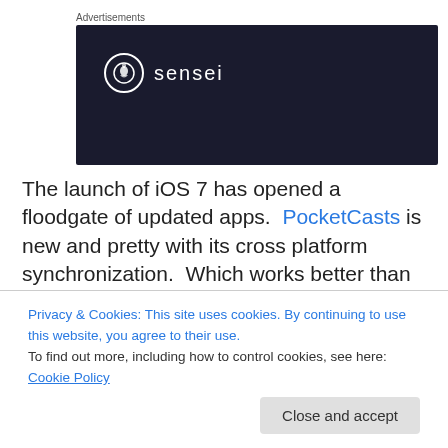Advertisements
[Figure (logo): Sensei app advertisement banner with dark navy background showing sensei logo (tree icon in circle) and the word 'sensei' in white letters]
The launch of iOS 7 has opened a floodgate of updated apps. PocketCasts is new and pretty with its cross platform synchronization. Which works better than expected. Calendar 5 is the BEST calendar app on iOS I
Privacy & Cookies: This site uses cookies. By continuing to use this website, you agree to their use.
To find out more, including how to control cookies, see here: Cookie Policy
buying another (Android most likely). I was differentially